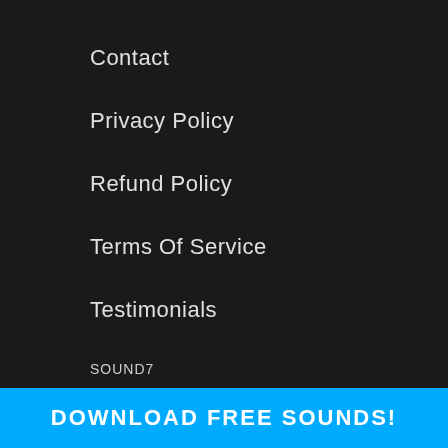Contact
Privacy Policy
Refund Policy
Terms Of Service
Testimonials
SOUND7
Specialists in Sound Design, Synth plugins and Music Production Resources. We Provide 100% Original, Royalty
DOWNLOAD FREE SOUNDS!